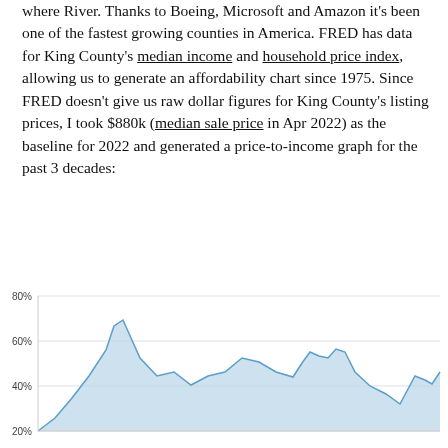where River. Thanks to Boeing, Microsoft and Amazon it's been one of the fastest growing counties in America. FRED has data for King County's median income and household price index, allowing us to generate an affordability chart since 1975. Since FRED doesn't give us raw dollar figures for King County's listing prices, I took $880k (median sale price in Apr 2022) as the baseline for 2022 and generated a price-to-income graph for the past 3 decades:
[Figure (area-chart): Area chart showing percentage of median family income required for a 30-year mortgage payment in King County WA from 1975 to 2022. Y-axis shows 20%, 40%, 60%, 80%. The line peaks around 1980 at ~67%, dips to ~33% mid-1980s, rises to ~50% early 1990s, dips again, rises to ~55% mid-2000s, drops sharply, then rises steeply at the end (2022) to ~43%.]